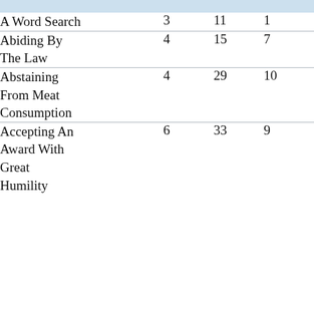| A Word Search | 3 | 11 | 1 |
| Abiding By
The Law | 4 | 15 | 7 |
| Abstaining
From Meat
Consumption | 4 | 29 | 10 |
| Accepting An
Award With
Great
Humility | 6 | 33 | 9 |